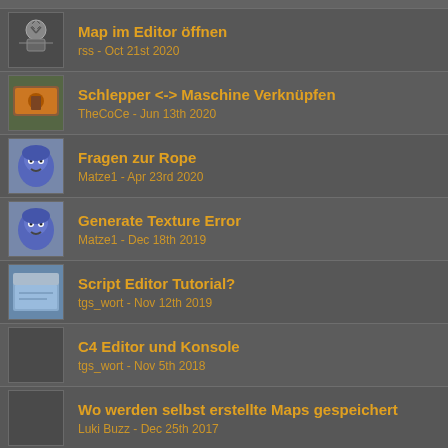Map im Editor öffnen
rss - Oct 21st 2020
Schlepper <-> Maschine Verknüpfen
TheCoCe - Jun 13th 2020
Fragen zur Rope
Matze1 - Apr 23rd 2020
Generate Texture Error
Matze1 - Dec 18th 2019
Script Editor Tutorial?
tgs_wort - Nov 12th 2019
C4 Editor und Konsole
tgs_wort - Nov 5th 2018
Wo werden selbst erstellte Maps gespeichert
Luki Buzz - Dec 25th 2017
Pflug und MB-Trac weg?
TheCoCe - Dec 10th 2017